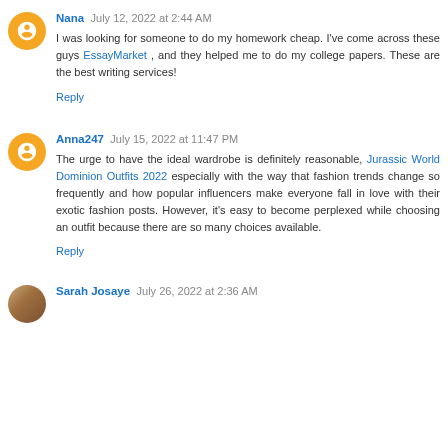Nana  July 12, 2022 at 2:44 AM
I was looking for someone to do my homework cheap. I've come across these guys EssayMarket , and they helped me to do my college papers. These are the best writing services!
Reply
Anna247  July 15, 2022 at 11:47 PM
The urge to have the ideal wardrobe is definitely reasonable, Jurassic World Dominion Outfits 2022 especially with the way that fashion trends change so frequently and how popular influencers make everyone fall in love with their exotic fashion posts. However, it's easy to become perplexed while choosing an outfit because there are so many choices available.
Reply
Sarah Josaye  July 26, 2022 at 2:36 AM